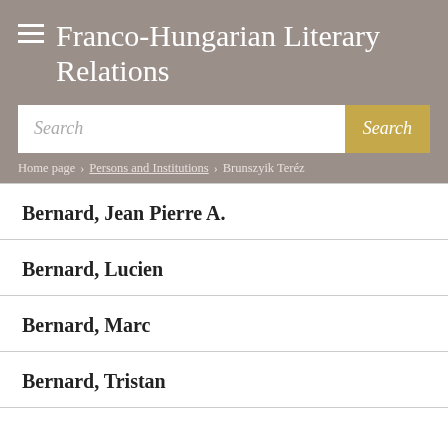Franco-Hungarian Literary Relations
Search
Home page › Persons and Institutions › Brunszyik Teréz
Bernard, Jean Pierre A.
Bernard, Lucien
Bernard, Marc
Bernard, Tristan